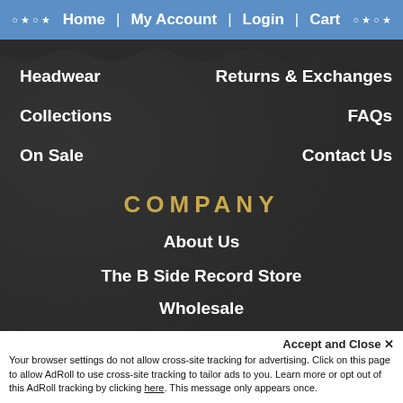Home | My Account | Login | Cart
Headwear
Returns & Exchanges
Collections
FAQs
On Sale
Contact Us
COMPANY
About Us
The B Side Record Store
Wholesale
Officially Licensed Apparel
Custom Screen Printing
Fundraisers
Press
Testimonials
Accept and Close ✕
Your browser settings do not allow cross-site tracking for advertising. Click on this page to allow AdRoll to use cross-site tracking to tailor ads to you. Learn more or opt out of this AdRoll tracking by clicking here. This message only appears once.